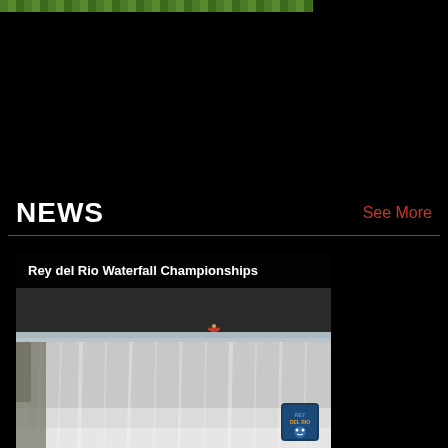[Figure (photo): Top portion of a photo showing green grass/field, partially visible at the top of the page]
NEWS
See More
[Figure (photo): Rey del Rio Waterfall Championships - kayaker going over a large waterfall with mist, Rey del Rio logo badge in lower right corner]
Rey del Rio Waterfall Championships